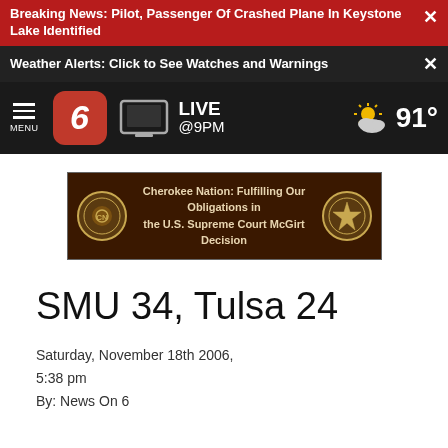Breaking News: Pilot, Passenger Of Crashed Plane In Keystone Lake Identified
Weather Alerts: Click to See Watches and Warnings
[Figure (screenshot): News On 6 navigation bar with hamburger menu, Channel 6 logo, TV live stream icon, LIVE @9PM text, and weather showing 91°]
[Figure (illustration): Cherokee Nation advertisement banner: Cherokee Nation: Fulfilling Our Obligations in the U.S. Supreme Court McGirt Decision]
SMU 34, Tulsa 24
Saturday, November 18th 2006, 5:38 pm
By: News On 6